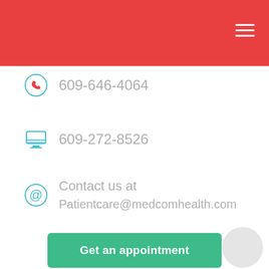609-646-4064
609-272-8526
Contact us at Patientcare@medcomhealth.com
Get an appointment
©2022 All right reserved by | Medicom Health Services